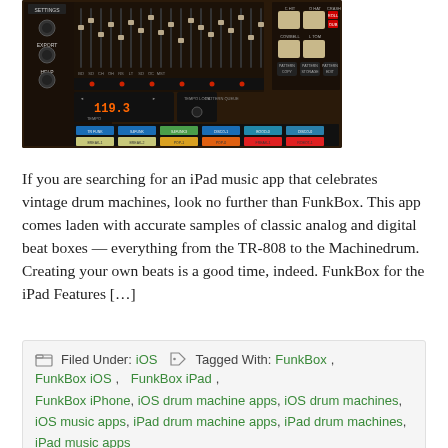[Figure (photo): Screenshot of the FunkBox drum machine iPad app showing a TR-808 style interface with black panel, sliders, pads in blue/green/yellow/orange/red colors, tempo display showing 119.3, and various controls including pattern copy, pattern storage, pattern edit.]
If you are searching for an iPad music app that celebrates vintage drum machines, look no further than FunkBox. This app comes laden with accurate samples of classic analog and digital beat boxes — everything from the TR-808 to the Machinedrum. Creating your own beats is a good time, indeed. FunkBox for the iPad Features […]
Filed Under: iOS   Tagged With: FunkBox, FunkBox iOS, FunkBox iPad, FunkBox iPhone, iOS drum machine apps, iOS drum machines, iOS music apps, iPad drum machine apps, iPad drum machines, iPad music apps